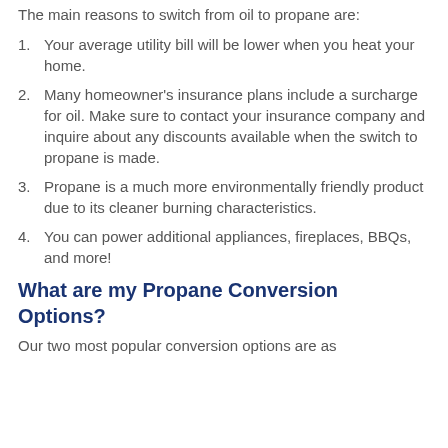The main reasons to switch from oil to propane are:
Your average utility bill will be lower when you heat your home.
Many homeowner's insurance plans include a surcharge for oil. Make sure to contact your insurance company and inquire about any discounts available when the switch to propane is made.
Propane is a much more environmentally friendly product due to its cleaner burning characteristics.
You can power additional appliances, fireplaces, BBQs, and more!
What are my Propane Conversion Options?
Our two most popular conversion options are as